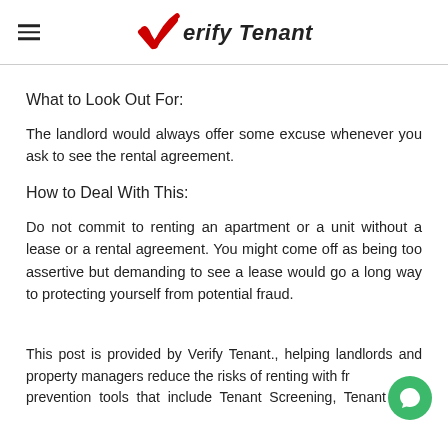Verify Tenant
What to Look Out For:
The landlord would always offer some excuse whenever you ask to see the rental agreement.
How to Deal With This:
Do not commit to renting an apartment or a unit without a lease or a rental agreement. You might come off as being too assertive but demanding to see a lease would go a long way to protecting yourself from potential fraud.
This post is provided by Verify Tenant., helping landlords and property managers reduce the risks of renting with fraud prevention tools that include Tenant Screening, Tenant